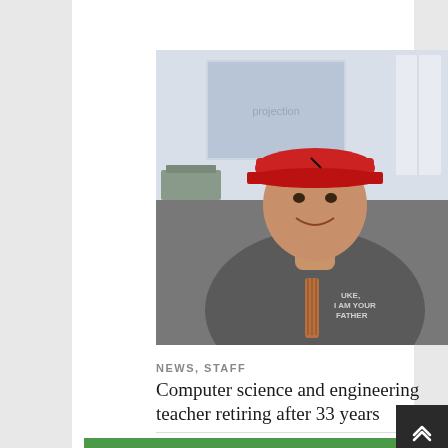POSTS
[Figure (photo): A man smiling in a classroom wearing a red baseball cap and a gray t-shirt that reads 'UKE, I AM YOUR FATHER', with a guitar visible, classroom chairs and a projection screen in the background.]
NEWS, STAFF
Computer science and engineering teacher retiring after 33 years
[Figure (photo): Partial view of a photo showing students in front of a green background (green screen).]